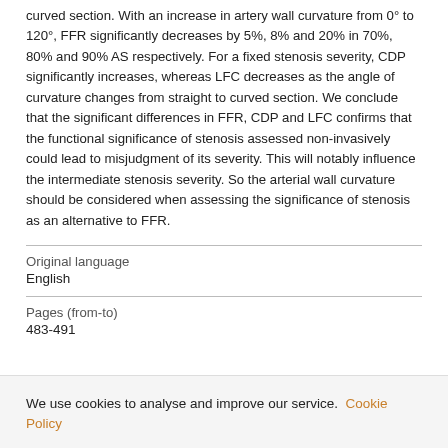curved section. With an increase in artery wall curvature from 0° to 120°, FFR significantly decreases by 5%, 8% and 20% in 70%, 80% and 90% AS respectively. For a fixed stenosis severity, CDP significantly increases, whereas LFC decreases as the angle of curvature changes from straight to curved section. We conclude that the significant differences in FFR, CDP and LFC confirms that the functional significance of stenosis assessed non-invasively could lead to misjudgment of its severity. This will notably influence the intermediate stenosis severity. So the arterial wall curvature should be considered when assessing the significance of stenosis as an alternative to FFR.
| Original language |  |
| --- | --- |
| English |  |
| Pages (from-to) |  |
| 483-491 |  |
We use cookies to analyse and improve our service. Cookie Policy